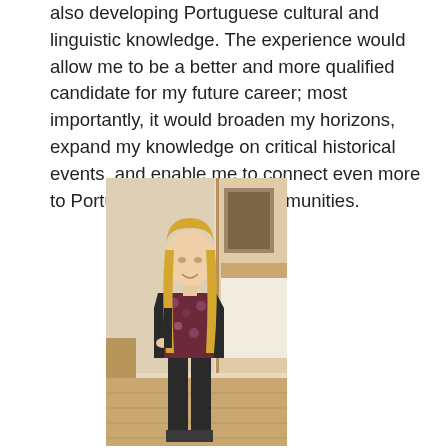also developing Portuguese cultural and linguistic knowledge. The experience would allow me to be a better and more qualified candidate for my future career; most importantly, it would broaden my horizons, expand my knowledge on critical historical events, and enable me to connect even more to Portuguese-speaking communities.
[Figure (photo): A young woman with long blonde hair, wearing a dark blazer over a floral top and dark pants, standing in what appears to be a bedroom with wooden flooring and furniture visible in the background.]